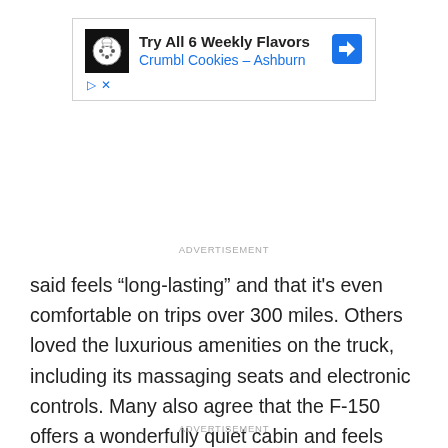[Figure (other): Advertisement banner for Crumbl Cookies - Ashburn: Try All 6 Weekly Flavors]
ADVERTISEMENT
said feels “long-lasting” and that it's even comfortable on trips over 300 miles. Others loved the luxurious amenities on the truck, including its massaging seats and electronic controls. Many also agree that the F-150 offers a wonderfully quiet cabin and feels smooth on the highway. Road imperfections don't pose a threat to this pickup either.
ADVERTISEMENT